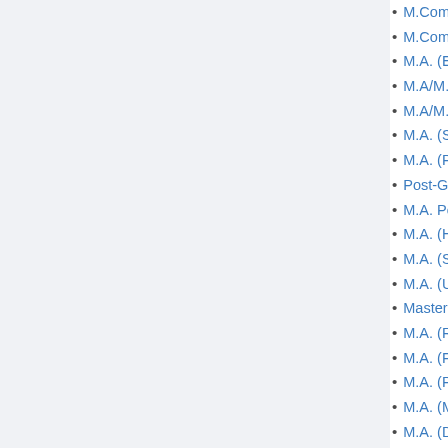M.Com CMA
M.Com. FAC
M.A. (English)
M.A/M.Sc. (An
M.A/M. Sc. (P
M.A. (Sociolo
M.A. (Public A
Post-Graduat
M.A. Political
M.A. (History)
M.A. (Sanskri
M.A. (Urdu) II-
Master of Mus
M.A. (Rajasth
M.A. (French)
M.A. (Philoso
M.A. (MVA) II-
M.A. (Dramati
M.A. (Drawing
M.A. Music (V
M.P.A (Vocal/I
M.P.A. (Katha
M.A. (Econo